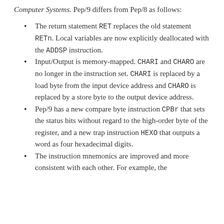Computer Systems. Pep/9 differs from Pep/8 as follows:
The return statement RET replaces the old statement RETn. Local variables are now explicitly deallocated with the ADDSP instruction.
Input/Output is memory-mapped. CHARI and CHARO are no longer in the instruction set. CHARI is replaced by a load byte from the input device address and CHARO is replaced by a store byte to the output device address.
Pep/9 has a new compare byte instruction CPBr that sets the status bits without regard to the high-order byte of the register, and a new trap instruction HEXO that outputs a word as four hexadecimal digits.
The instruction mnemonics are improved and more consistent with each other. For example, the